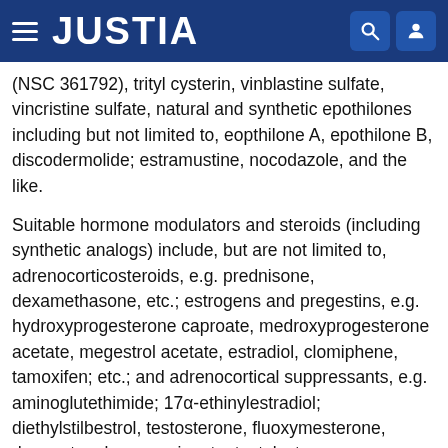JUSTIA
(NSC 361792), trityl cysterin, vinblastine sulfate, vincristine sulfate, natural and synthetic epothilones including but not limited to, eopthilone A, epothilone B, discodermolide; estramustine, nocodazole, and the like.
Suitable hormone modulators and steroids (including synthetic analogs) include, but are not limited to, adrenocorticosteroids, e.g. prednisone, dexamethasone, etc.; estrogens and pregestins, e.g. hydroxyprogesterone caproate, medroxyprogesterone acetate, megestrol acetate, estradiol, clomiphene, tamoxifen; etc.; and adrenocortical suppressants, e.g. aminoglutethimide; 17α-ethinylestradiol; diethylstilbestrol, testosterone, fluoxymesterone, dromostanolone propionate, testolactone, methylprednisolone, methyl-testosterone, prednisolone, triamcinolone, chlorotrianisene,